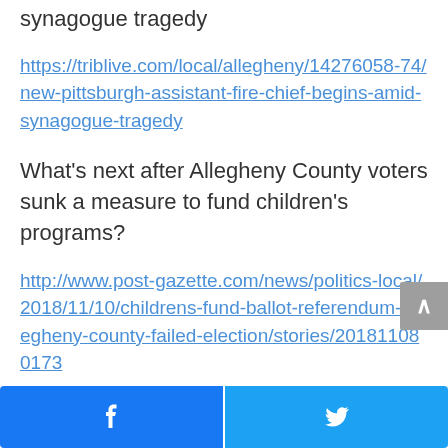synagogue tragedy
https://triblive.com/local/allegheny/14276058-74/new-pittsburgh-assistant-fire-chief-begins-amid-synagogue-tragedy
What's next after Allegheny County voters sunk a measure to fund children's programs?
http://www.post-gazette.com/news/politics-local/2018/11/10/childrens-fund-ballot-referendum-allegheny-county-failed-election/stories/201811080173
Local